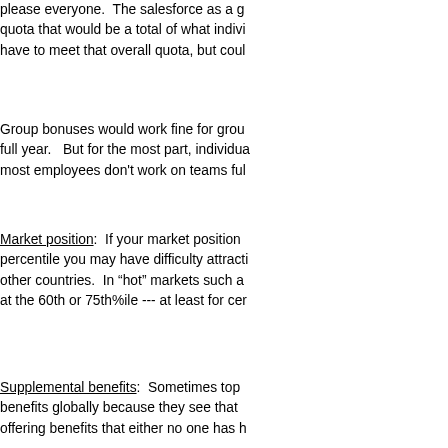please everyone.  The salesforce as a group has a quota that would be a total of what individuals have to meet that overall quota, but could
Group bonuses would work fine for group full year.  But for the most part, individual most employees don't work on teams fully
Market position:  If your market position percentile you may have difficulty attracting other countries.  In “hot” markets such as at the 60th or 75th%ile --- at least for certain
Supplemental benefits:  Sometimes top benefits globally because they see that offering benefits that either no one has heard. There is no reason to offer something that made this mistake years ago when it published they had facilities.  No one had ever heard, didn't understand them. Over time the company
I hope I have given you something to think more of the corporate questions.
If you've set up compensation/benefits p